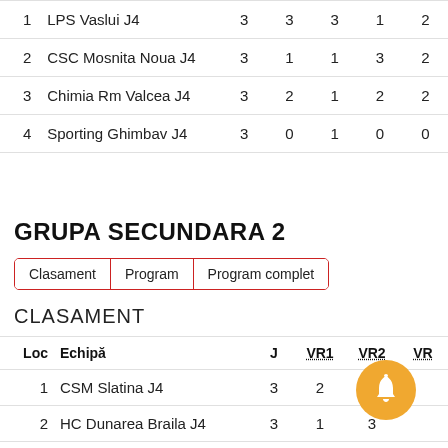| Loc | Echipă | J | VR1 | VR2 | VR3 |
| --- | --- | --- | --- | --- | --- |
| 1 | LPS Vaslui J4 | 3 | 3 | 3 | 1 2 |
| 2 | CSC Mosnita Noua J4 | 3 | 1 | 1 | 3 2 |
| 3 | Chimia Rm Valcea J4 | 3 | 2 | 1 | 2 2 |
| 4 | Sporting Ghimbav J4 | 3 | 0 | 1 | 0 0 |
GRUPA SECUNDARA 2
Clasament | Program | Program complet
CLASAMENT
| Loc | Echipă | J | VR1 | VR2 | VR3 |
| --- | --- | --- | --- | --- | --- |
| 1 | CSM Slatina J4 | 3 | 2 |  |  |
| 2 | HC Dunarea Braila J4 | 3 | 1 | 3 |  |